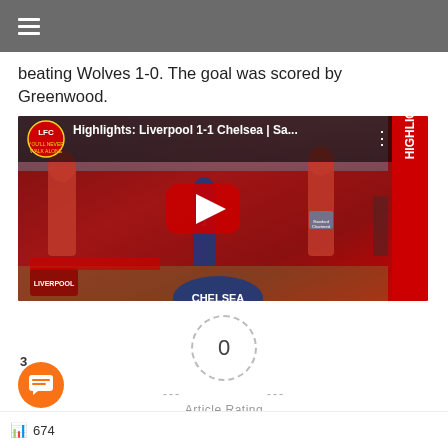≡ (hamburger menu)
beating Wolves 1-0. The goal was scored by Greenwood.
[Figure (screenshot): YouTube video thumbnail for 'Highlights: Liverpool 1-1 Chelsea | Sa...' showing Liverpool players in red kits on pitch, with YouTube play button overlay, Liverpool FC logo, and red HIGHLIGHT bar on right side.]
0
Article Rating
★ ★ ★ ★ ★ (5 empty stars)
674